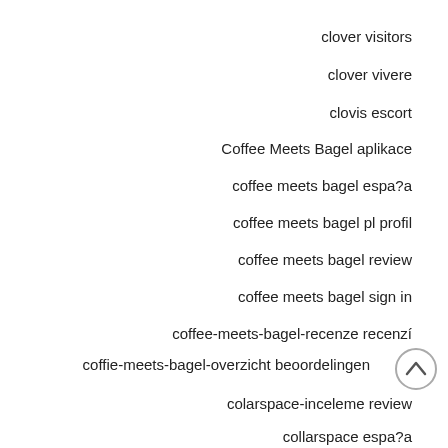clover visitors
clover vivere
clovis escort
Coffee Meets Bagel aplikace
coffee meets bagel espa?a
coffee meets bagel pl profil
coffee meets bagel review
coffee meets bagel sign in
coffee-meets-bagel-recenze recenzí
coffie-meets-bagel-overzicht beoordelingen
colarspace-inceleme review
collarspace espa?a